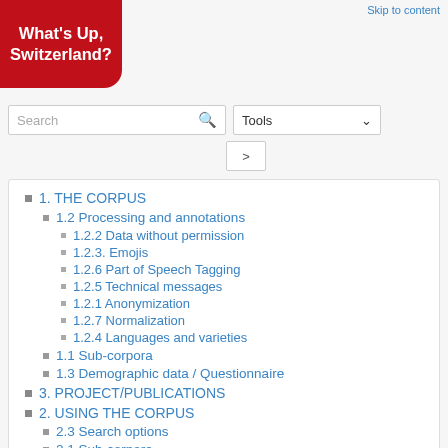[Figure (logo): What's Up, Switzerland? logo, red speech bubble shape with white bold text]
Skip to content
Search
Tools
1. THE CORPUS
1.2 Processing and annotations
1.2.2 Data without permission
1.2.3. Emojis
1.2.6 Part of Speech Tagging
1.2.5 Technical messages
1.2.1 Anonymization
1.2.7 Normalization
1.2.4 Languages and varieties
1.1 Sub-corpora
1.3 Demographic data / Questionnaire
3. PROJECT/PUBLICATIONS
2. USING THE CORPUS
2.3 Search options
2.1 Sub-corpora
2.? Additional features (partially visible)